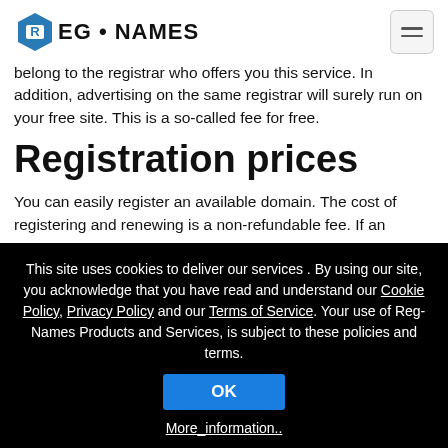REG • NAMES
belong to the registrar who offers you this service. In addition, advertising on the same registrar will surely run on your free site. This is a so-called fee for free.
Registration prices
You can easily register an available domain. The cost of registering and renewing is a non-refundable fee. If an
This site uses cookies to deliver our services . By using our site, you acknowledge that you have read and understand our Cookie Policy, Privacy Policy and our Terms of Service. Your use of Reg-Names Products and Services, is subject to these policies and terms.
OK
More_information..